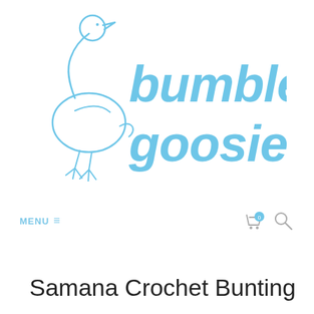[Figure (logo): Bumble Goosie logo: a hand-drawn outline of a goose in light blue, with the text 'bumble goosie.' in light blue handwritten-style font]
MENU ≡  [cart icon with 0] [search icon]
Samana Crochet Bunting